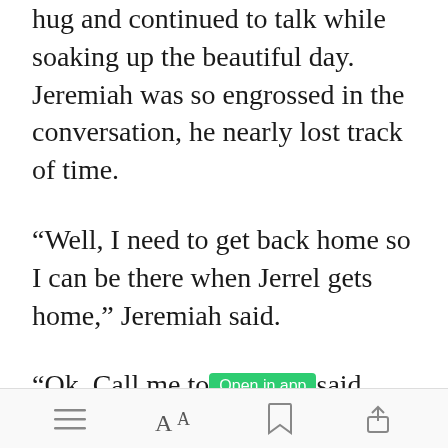hug and continued to talk while soaking up the beautiful day. Jeremiah was so engrossed in the conversation, he nearly lost track of time.
“Well, I need to get back home so I can be there when Jerrel gets home,” Jeremiah said.
“Ok. Call me to [Open in app] said Michelle.
[toolbar icons: menu, font size, bookmark, share]